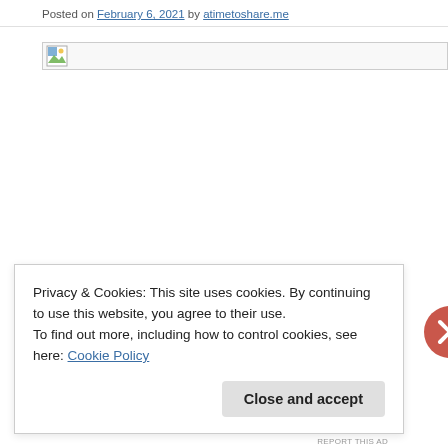Posted on February 6, 2021 by atimetoshare.me
[Figure (photo): Broken image placeholder icon at top left, with a large white/blank image area below]
Privacy & Cookies: This site uses cookies. By continuing to use this website, you agree to their use.
To find out more, including how to control cookies, see here: Cookie Policy
Close and accept